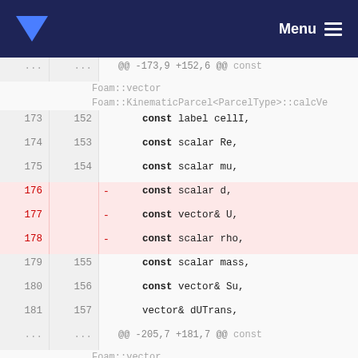Menu
[Figure (screenshot): Code diff view showing changes to Foam::KinematicParcel calcVe function. Lines 173-157 show const parameters, with lines 176-178 deleted (const scalar d, const vector& U, const scalar rho). Second hunk shows lines 205-183 with Spu = dt*Feff.Sp(); and IntegrationScheme<vector>::integrationResult Ures =]